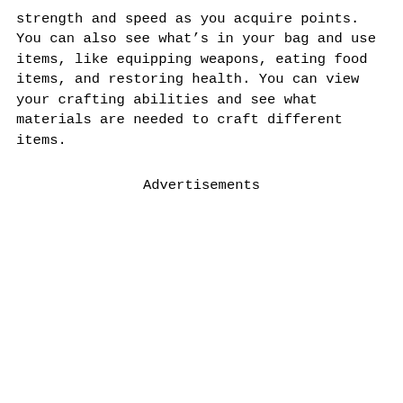strength and speed as you acquire points. You can also see what's in your bag and use items, like equipping weapons, eating food items, and restoring health. You can view your crafting abilities and see what materials are needed to craft different items.
Advertisements